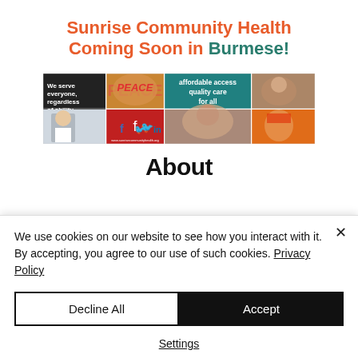Sunrise Community Health Coming Soon in Burmese!
[Figure (photo): Collage banner showing community health scenes: text 'We serve everyone, regardless of ability to pay.', a close-up portrait, teal panel with 'affordable access quality care for all', social media icons (f, bird, in), a doctor photo, a woman looking at something, and a colorful mural with elderly person.]
About
We use cookies on our website to see how you interact with it. By accepting, you agree to our use of such cookies. Privacy Policy
Decline All
Accept
Settings